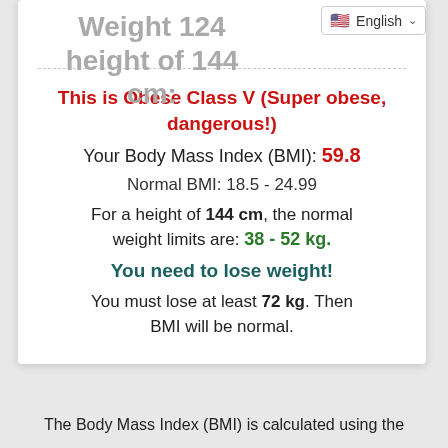Weight 124 height of 144 cm:
This is Obese Class V (Super obese, dangerous!)
Your Body Mass Index (BMI): 59.8
Normal BMI: 18.5 - 24.99
For a height of 144 cm, the normal weight limits are: 38 - 52 kg.
You need to lose weight!
You must lose at least 72 kg. Then BMI will be normal.
The Body Mass Index (BMI) is calculated using the